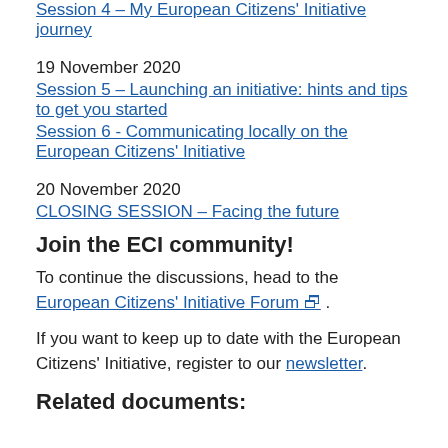Session 4 – My European Citizens' Initiative journey
19 November 2020
Session 5 – Launching an initiative: hints and tips to get you started
Session 6 - Communicating locally on the European Citizens' Initiative
20 November 2020
CLOSING SESSION – Facing the future
Join the ECI community!
To continue the discussions, head to the European Citizens' Initiative Forum .
If you want to keep up to date with the European Citizens' Initiative, register to our newsletter.
Related documents: